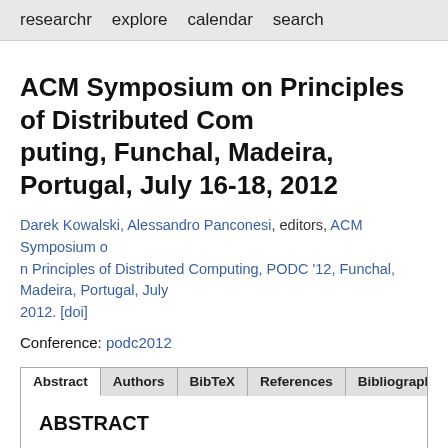researchr   explore   calendar   search
ACM Symposium on Principles of Distributed Computing, Funchal, Madeira, Portugal, July 16-18, 2012
Darek Kowalski, Alessandro Panconesi, editors, ACM Symposium on Principles of Distributed Computing, PODC '12, Funchal, Madeira, Portugal, July 2012. [doi]
Conference: podc2012
ABSTRACT
Abstract is missing.
TABLE OF CONTENTS